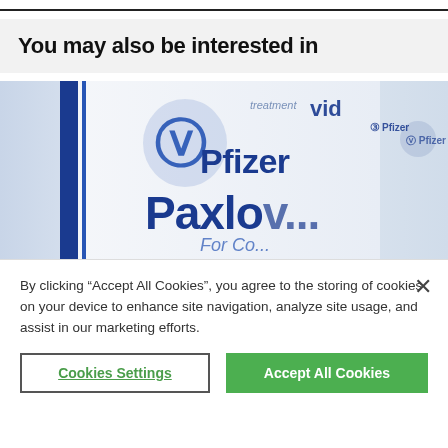You may also be interested in
[Figure (photo): Close-up photo of a Pfizer Paxlovid medication box showing the Pfizer logo and partial text 'For Co...' (For Covid treatment), with blue branding on white packaging]
By clicking “Accept All Cookies”, you agree to the storing of cookies on your device to enhance site navigation, analyze site usage, and assist in our marketing efforts.
Cookies Settings
Accept All Cookies